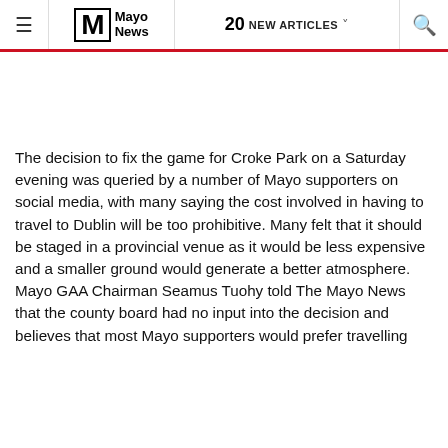Mayo News — 20 NEW ARTICLES
The decision to fix the game for Croke Park on a Saturday evening was queried by a number of Mayo supporters on social media, with many saying the cost involved in having to travel to Dublin will be too prohibitive. Many felt that it should be staged in a provincial venue as it would be less expensive and a smaller ground would generate a better atmosphere. Mayo GAA Chairman Seamus Tuohy told The Mayo News that the county board had no input into the decision and believes that most Mayo supporters would prefer travelling